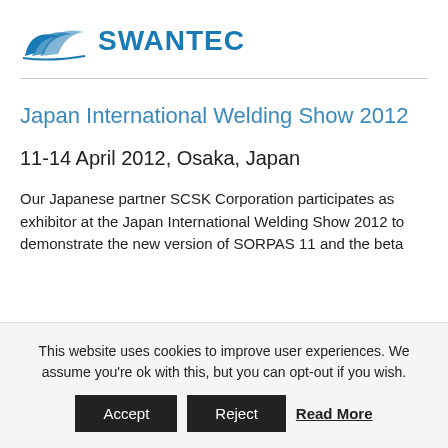SWANTEC
Japan International Welding Show 2012
11-14 April 2012, Osaka, Japan
Our Japanese partner SCSK Corporation participates as exhibitor at the Japan International Welding Show 2012 to demonstrate the new version of SORPAS 11 and the beta
This website uses cookies to improve user experiences. We assume you're ok with this, but you can opt-out if you wish.